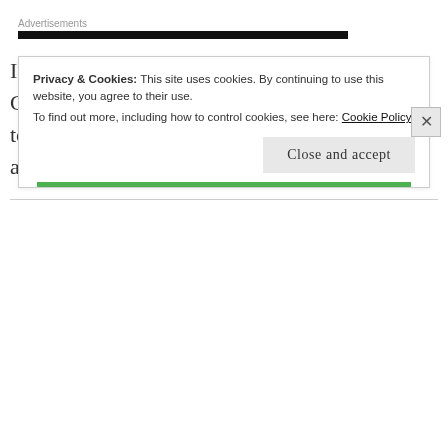Advertisements
I seriously freaked when I saw that 12 days of Country Heat has me down 7.4lbs. It's amazing to keep seeing the scale change and feel so amazing.
Privacy & Cookies: This site uses cookies. By continuing to use this website, you agree to their use.
To find out more, including how to control cookies, see here: Cookie Policy
Close and accept